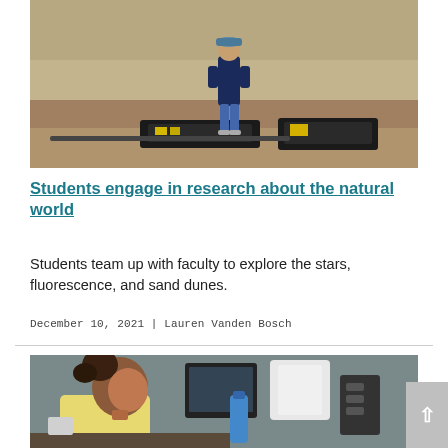[Figure (photo): A student standing outdoors near sand dunes, with field equipment and tool cases laid out on the ground in front of them.]
Students engage in research about the natural world
Students team up with faculty to explore the stars, fluorescence, and sand dunes.
December 10, 2021 | Lauren Vanden Bosch
[Figure (photo): A student working at a desk or lab bench, looking at screens and equipment in what appears to be a laboratory setting.]